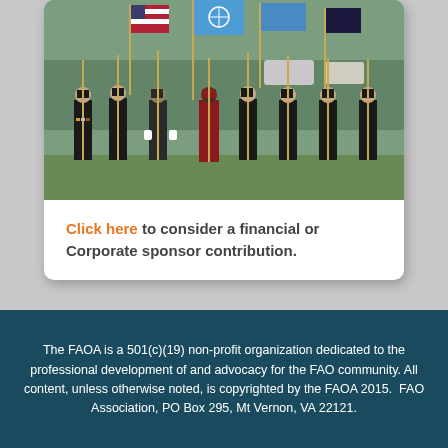[Figure (photo): Military color guard marching in formation carrying flags including US flag and UN flag, soldiers in dress uniforms]
Click here to consider a financial or Corporate sponsor contribution.
The FAOA is a 501(c)(19) non-profit organization dedicated to the professional development of and advocacy for the FAO community. All content, unless otherwise noted, is copyrighted by the FAOA 2015.  FAO Association, PO Box 295, Mt Vernon, VA 22121.